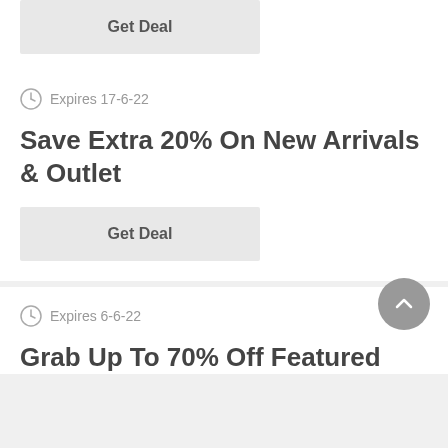[Figure (other): Get Deal button in a white card (partial, top of page)]
Expires 17-6-22
Save Extra 20% On New Arrivals & Outlet
[Figure (other): Get Deal button]
Expires 6-6-22
Grab Up To 70% Off Featured